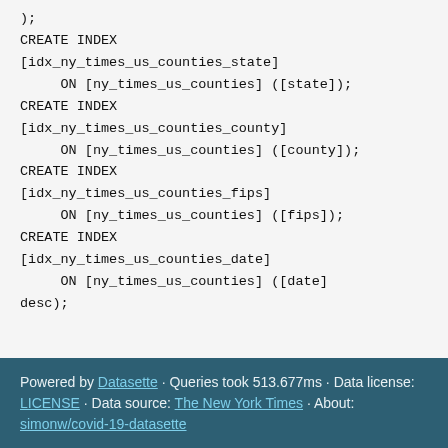);
CREATE INDEX [idx_ny_times_us_counties_state]
     ON [ny_times_us_counties] ([state]);
CREATE INDEX [idx_ny_times_us_counties_county]
     ON [ny_times_us_counties] ([county]);
CREATE INDEX [idx_ny_times_us_counties_fips]
     ON [ny_times_us_counties] ([fips]);
CREATE INDEX [idx_ny_times_us_counties_date]
     ON [ny_times_us_counties] ([date]
desc);
Powered by Datasette · Queries took 513.677ms · Data license: LICENSE · Data source: The New York Times · About: simonw/covid-19-datasette